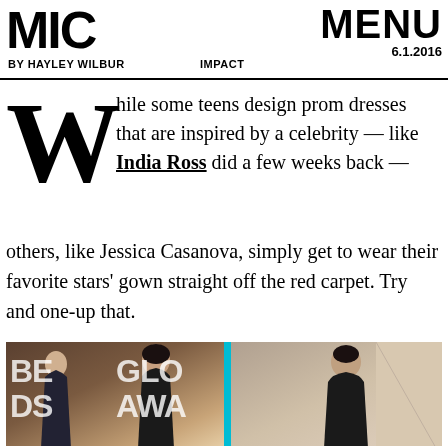MIC
BY HAYLEY WILBUR
IMPACT
MENU 6.1.2016
While some teens design prom dresses that are inspired by a celebrity — like India Ross did a few weeks back — others, like Jessica Casanova, simply get to wear their favorite stars' gown straight off the red carpet. Try and one-up that.
[Figure (photo): Side-by-side photo comparison: left shows a young woman in a black strapless gown at a red carpet awards event (Golden Globes backdrop visible), right shows another woman in a similar black strapless dress posing indoors. A cyan/teal diagonal line divides the two photos.]